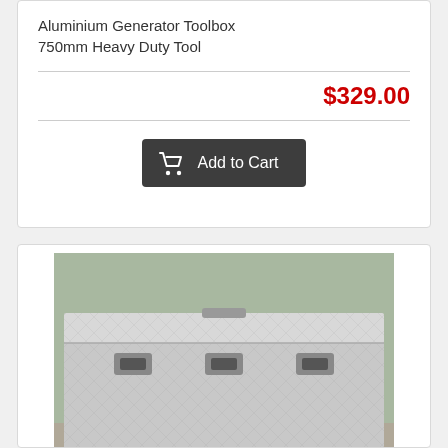Aluminium Generator Toolbox 750mm Heavy Duty Tool
$329.00
Add to Cart
[Figure (photo): Aluminium toolbox with diamond plate pattern, tapered lid, and two latches, sitting on wooden blocks on a concrete surface, with green foliage in background.]
Aluminium Toolbox 1200mm Tapered Lid Heavy Duty To